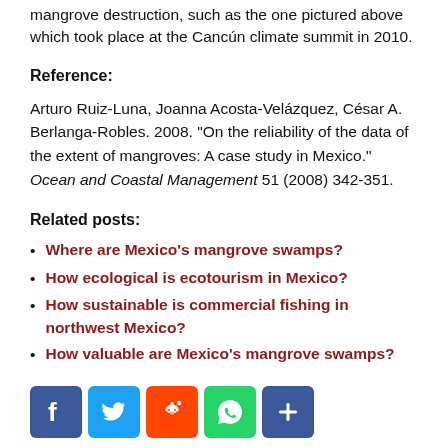mangrove destruction, such as the one pictured above which took place at the Cancún climate summit in 2010.
Reference:
Arturo Ruiz-Luna, Joanna Acosta-Velázquez, César A. Berlanga-Robles. 2008. "On the reliability of the data of the extent of mangroves: A case study in Mexico." Ocean and Coastal Management 51 (2008) 342-351.
Related posts:
Where are Mexico's mangrove swamps?
How ecological is ecotourism in Mexico?
How sustainable is commercial fishing in northwest Mexico?
How valuable are Mexico's mangrove swamps?
[Figure (infographic): Social sharing icons: Facebook (blue), Twitter (blue), Reddit (orange-red), WhatsApp (green), Share (blue)]